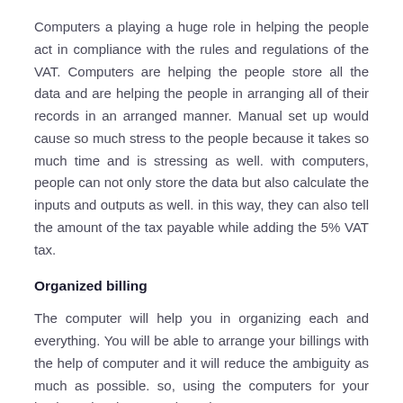Computers a playing a huge role in helping the people act in compliance with the rules and regulations of the VAT. Computers are helping the people store all the data and are helping the people in arranging all of their records in an arranged manner. Manual set up would cause so much stress to the people because it takes so much time and is stressing as well. with computers, people can not only store the data but also calculate the inputs and outputs as well. in this way, they can also tell the amount of the tax payable while adding the 5% VAT tax.
Organized billing
The computer will help you in organizing each and everything. You will be able to arrange your billings with the help of computer and it will reduce the ambiguity as much as possible. so, using the computers for your business is a huge tension releaser.